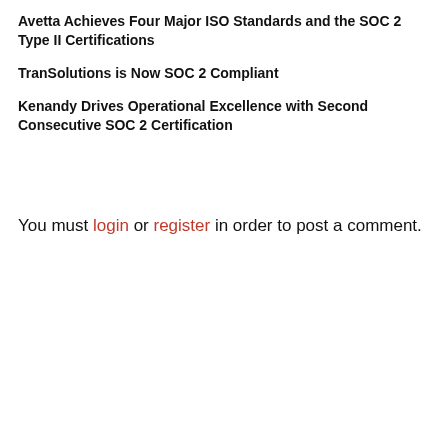Avetta Achieves Four Major ISO Standards and the SOC 2 Type II Certifications
TranSolutions is Now SOC 2 Compliant
Kenandy Drives Operational Excellence with Second Consecutive SOC 2 Certification
You must login or register in order to post a comment.